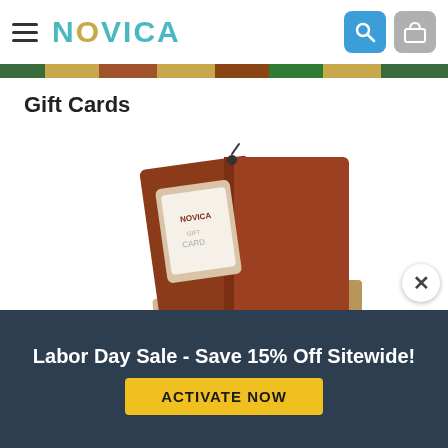NOVICA
Gift Cards
[Figure (photo): NOVICA gift cards displayed: an open brown leather-style folder with a NOVICA gift card inside, and stacked gift card booklets with a fabric pouch in front.]
Labor Day Sale - Save 15% Off Sitewide!
ACTIVATE NOW